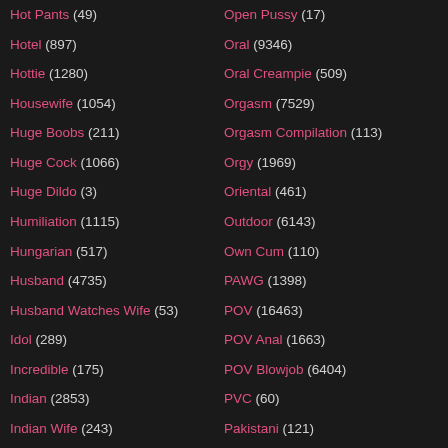Hot Pants (49)
Hotel (897)
Hottie (1280)
Housewife (1054)
Huge Boobs (211)
Huge Cock (1066)
Huge Dildo (3)
Humiliation (1115)
Hungarian (517)
Husband (4735)
Husband Watches Wife (53)
Idol (289)
Incredible (175)
Indian (2853)
Indian Wife (243)
Indonesian (418)
Open Pussy (17)
Oral (9346)
Oral Creampie (509)
Orgasm (7529)
Orgasm Compilation (113)
Orgy (1969)
Oriental (461)
Outdoor (6143)
Own Cum (110)
PAWG (1398)
POV (16463)
POV Anal (1663)
POV Blowjob (6404)
PVC (60)
Pakistani (121)
Pale (168)